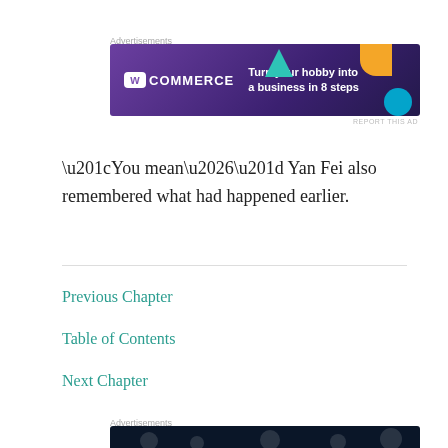Advertisements
[Figure (photo): WooCommerce advertisement banner with text 'Turn your hobby into a business in 8 steps' on dark purple background with colorful geometric decorations]
REPORT THIS AD
“You mean…” Yan Fei also remembered what had happened earlier.
Previous Chapter
Table of Contents
Next Chapter
Advertisements
[Figure (photo): Bottom advertisement banner, dark navy background with subtle dot pattern, partially visible]